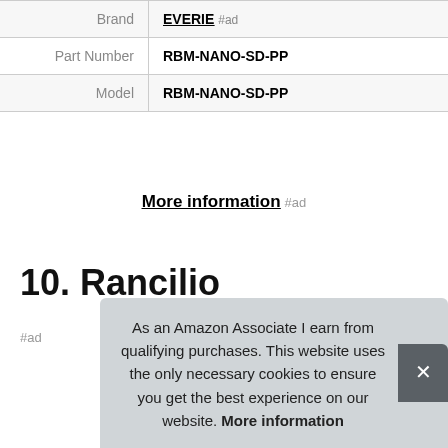|  |  |
| --- | --- |
| Brand | EVERIE #ad |
| Part Number | RBM-NANO-SD-PP |
| Model | RBM-NANO-SD-PP |
More information #ad
10. Rancilio
#ad
As an Amazon Associate I earn from qualifying purchases. This website uses the only necessary cookies to ensure you get the best experience on our website. More information